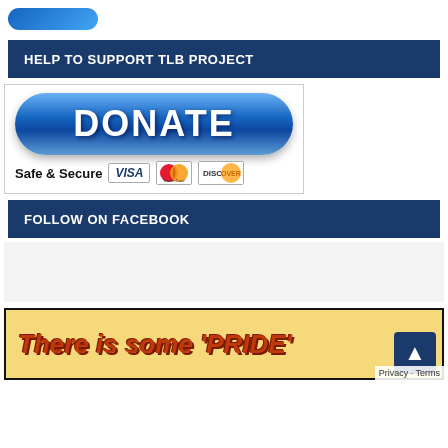[Figure (logo): Blue rounded rectangle logo at top]
HELP TO SUPPORT TLB PROJECT
[Figure (illustration): Donate button with blue pill shape and DONATE text, with Safe & Secure and payment card logos (VISA, MasterCard, Discover)]
FOLLOW ON FACEBOOK
[Figure (other): Facebook follow widget placeholder, light gray background]
[Figure (illustration): Yellow banner with text 'There is some PRIDE' in red bold italic letters on dark border]
Privacy · Terms